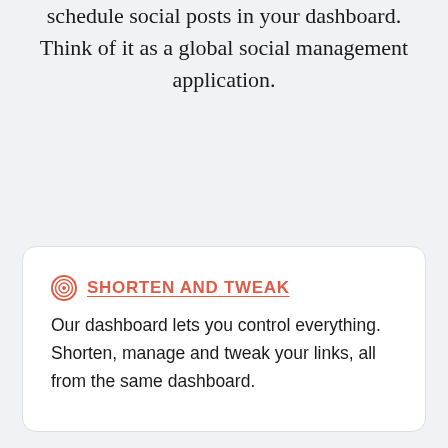schedule social posts in your dashboard. Think of it as a global social management application.
SHORTEN AND TWEAK
Our dashboard lets you control everything. Shorten, manage and tweak your links, all from the same dashboard.